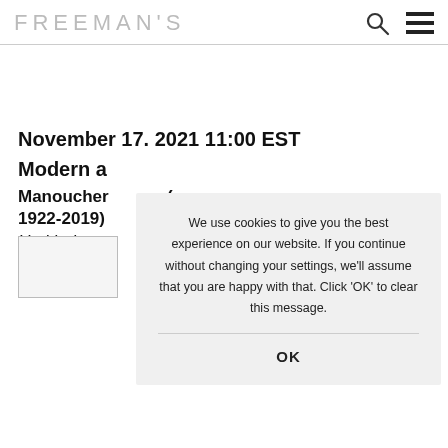FREEMAN'S
November 17. 2021 11:00 EST
Modern a[nd Contemporary Art]
Manoucher [Yektai] (1922-2019)
Untitled
We use cookies to give you the best experience on our website. If you continue without changing your settings, we'll assume that you are happy with that. Click 'OK' to clear this message.
OK